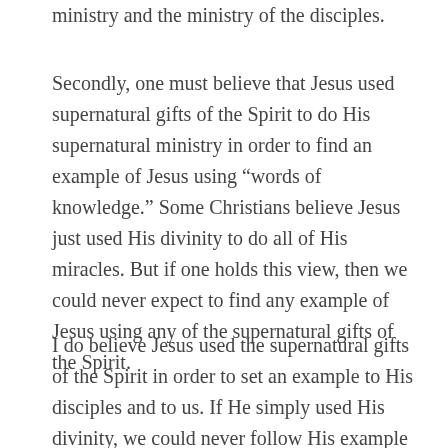ministry and the ministry of the disciples.
Secondly, one must believe that Jesus used supernatural gifts of the Spirit to do His supernatural ministry in order to find an example of Jesus using “words of knowledge.” Some Christians believe Jesus just used His divinity to do all of His miracles. But if one holds this view, then we could never expect to find any example of Jesus using any of the supernatural gifts of the Spirit.
I do believe Jesus used the supernatural gifts of the Spirit in order to set an example to His disciples and to us. If He simply used His divinity, we could never follow His example (something we’re asked to do